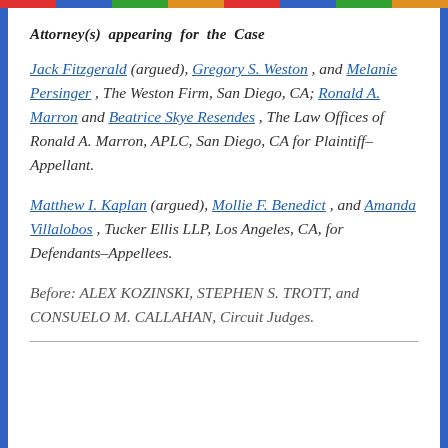Attorney(s) appearing for the Case
Jack Fitzgerald (argued), Gregory S. Weston, and Melanie Persinger, The Weston Firm, San Diego, CA; Ronald A. Marron and Beatrice Skye Resendes, The Law Offices of Ronald A. Marron, APLC, San Diego, CA for Plaintiff-Appellant.
Matthew I. Kaplan (argued), Mollie F. Benedict, and Amanda Villalobos, Tucker Ellis LLP, Los Angeles, CA, for Defendants-Appellees.
Before: ALEX KOZINSKI, STEPHEN S. TROTT, and CONSUELO M. CALLAHAN, Circuit Judges.